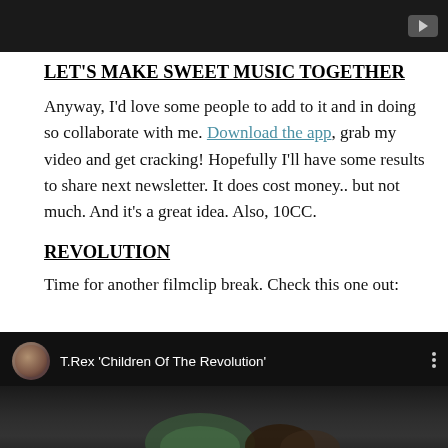[Figure (screenshot): Dark video player thumbnail at top of page with YouTube play button icon in top-right corner]
LET'S MAKE SWEET MUSIC TOGETHER
Anyway, I'd love some people to add to it and in doing so collaborate with me. Download the app, grab my video and get cracking! Hopefully I'll have some results to share next newsletter. It does cost money.. but not much. And it's a great idea. Also, 10CC.
REVOLUTION
Time for another filmclip break. Check this one out:
[Figure (screenshot): YouTube video embed showing T.Rex 'Children Of The Revolution' with channel thumbnail and blurred concert footage]